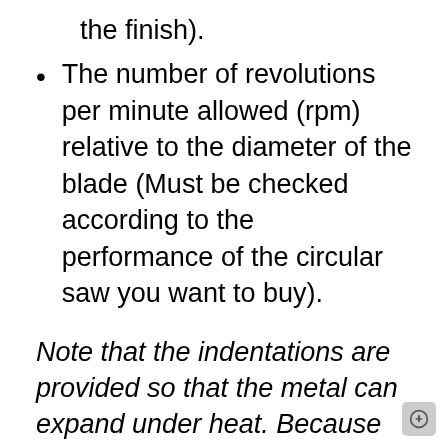the finish).
The number of revolutions per minute allowed (rpm) relative to the diameter of the blade (Must be checked according to the performance of the circular saw you want to buy).
Note that the indentations are provided so that the metal can expand under heat. Because the circular blades or any type of blades gets heated by the continuous